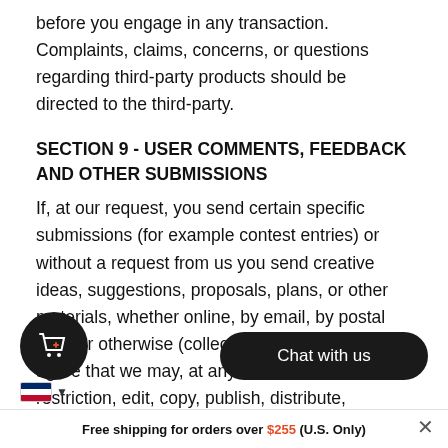before you engage in any transaction. Complaints, claims, concerns, or questions regarding third-party products should be directed to the third-party.
SECTION 9 - USER COMMENTS, FEEDBACK AND OTHER SUBMISSIONS
If, at our request, you send certain specific submissions (for example contest entries) or without a request from us you send creative ideas, suggestions, proposals, plans, or other materials, whether online, by email, by postal mail, or otherwise (collectively, 'comments'), you agree that we may, at any time, without restriction, edit, copy, publish, distribute, translate and otherwise use in any any comments that you fo... all be under no obligation...
Free shipping for orders over $255 (U.S. Only)